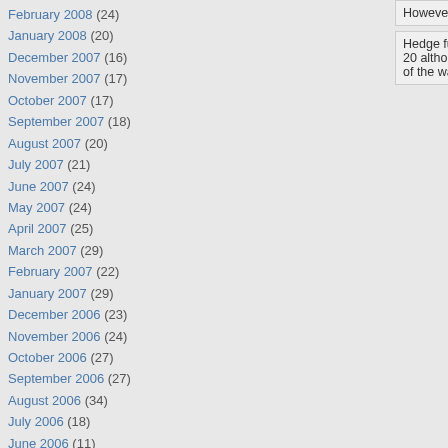February 2008 (24)
January 2008 (20)
December 2007 (16)
November 2007 (17)
October 2007 (17)
September 2007 (18)
August 2007 (20)
July 2007 (21)
June 2007 (24)
May 2007 (24)
April 2007 (25)
March 2007 (29)
February 2007 (22)
January 2007 (29)
December 2006 (23)
November 2006 (24)
October 2006 (27)
September 2006 (27)
August 2006 (34)
July 2006 (18)
June 2006 (11)
May 2006 (11)
April 2006 (26)
March 2006 (31)
February 2006 (27)
However, we wouldn't ge...
Hedge funds that run ba... 20 although I am sure th... of the water because the...